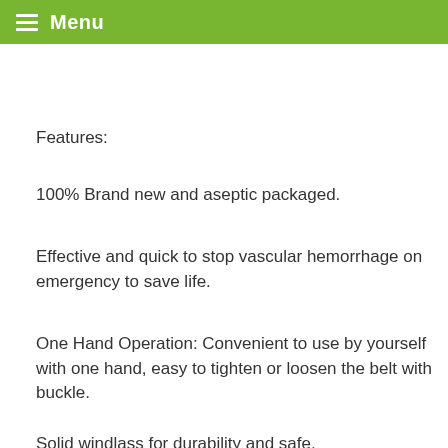Menu
Features:
100% Brand new and aseptic packaged.
Effective and quick to stop vascular hemorrhage on emergency to save life.
One Hand Operation: Convenient to use by yourself with one hand, easy to tighten or loosen the belt with buckle.
Solid windlass for durability and safe.
Reusable after disinfection, latex-free with long service